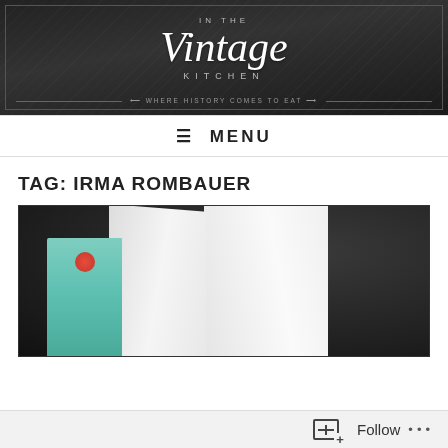[Figure (logo): Dark chalkboard-style banner header reading 'IN THE Vintage KITCHEN — WHERE HISTORY COMES TO EAT' with decorative border and arrow tagline.]
≡ MENU
TAG: IRMA ROMBAUER
[Figure (photo): Dark background photo showing an open white book and a teal-colored book with a red circular emblem on its spine, arranged together.]